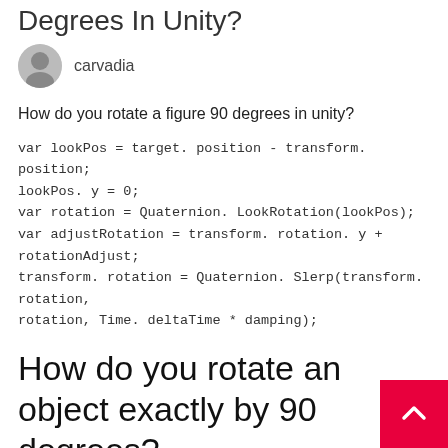Degrees In Unity?
carvadia
How do you rotate a figure 90 degrees in unity?
var lookPos = target. position - transform. position;
lookPos. y = 0;
var rotation = Quaternion. LookRotation(lookPos);
var adjustRotation = transform. rotation. y + rotationAdjust;
transform. rotation = Quaternion. Slerp(transform. rotation, rotation, Time. deltaTime * damping);
How do you rotate an object exactly by 90 degrees?
Press R to rotate, press Y to snap to the Y-axis, and enter -90 on your keyboard to rotate an object -90 degrees on the Y-axis.